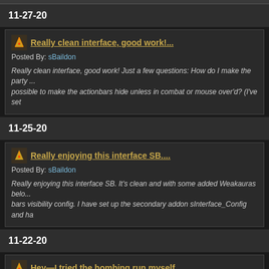11-27-20
Really clean interface, good work!...
Posted By: sBaildon
Really clean interface, good work! Just a few questions: How do I make the party ... possible to make the actionbars hide unless in combat or mouse over'd? (I've set
11-25-20
Really enjoying this interface SB....
Posted By: sBaildon
Really enjoying this interface SB. It's clean and with some added Weakauras belo... bars visibility config. I have set up the secondary addon sInterface_Config and ha
11-22-20
Hey—I tried the bombing run myself...
Posted By: sBaildon
Hey—I tried the bombing run myself and saw the same thing, but chalked it up to ... main difference i see there is that the ulduar vehicle buttons are present from the s
11-22-20